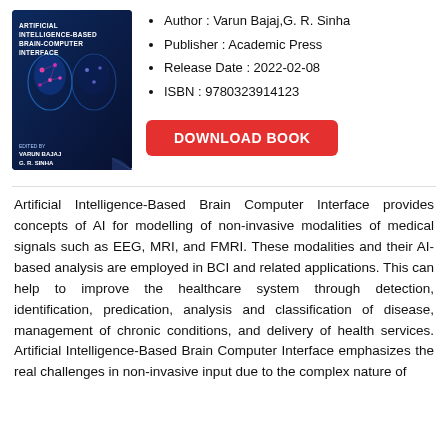[Figure (illustration): Book cover for 'Artificial Intelligence-Based Brain-Computer Interface' edited by Varun Bajaj and G. R. Sinha, published by Academic Press. Dark blue cover with brain/head imagery and pink neural network dots.]
Author : Varun Bajaj,G. R. Sinha
Publisher : Academic Press
Release Date : 2022-02-08
ISBN : 9780323914123
DOWNLOAD BOOK
Artificial Intelligence-Based Brain Computer Interface provides concepts of AI for modelling of non-invasive modalities of medical signals such as EEG, MRI, and FMRI. These modalities and their AI-based analysis are employed in BCI and related applications. This can help to improve the healthcare system through detection, identification, predication, analysis and classification of disease, management of chronic conditions, and delivery of health services. Artificial Intelligence-Based Brain Computer Interface emphasizes the real challenges in non-invasive input due to the complex nature of